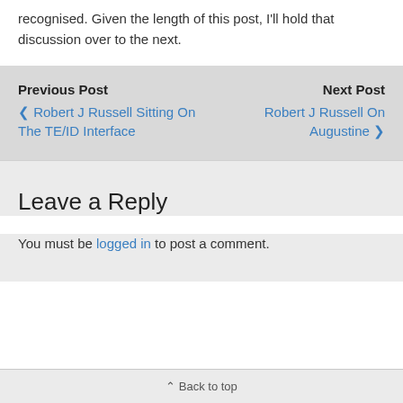recognised. Given the length of this post, I'll hold that discussion over to the next.
Previous Post
‹ Robert J Russell Sitting On The TE/ID Interface
Next Post
Robert J Russell On Augustine ›
Leave a Reply
You must be logged in to post a comment.
⌃ Back to top